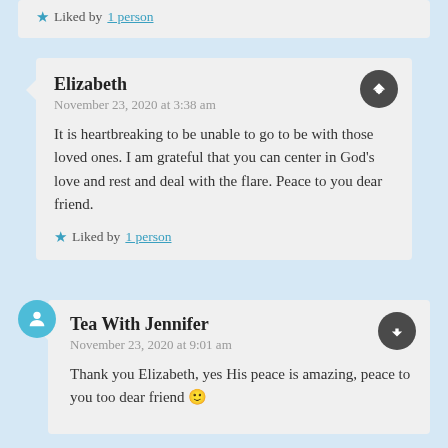Liked by 1 person
Elizabeth
November 23, 2020 at 3:38 am
It is heartbreaking to be unable to go to be with those loved ones. I am grateful that you can center in God’s love and rest and deal with the flare. Peace to you dear friend.
Liked by 1 person
Tea With Jennifer
November 23, 2020 at 9:01 am
Thank you Elizabeth, yes His peace is amazing, peace to you too dear friend 🙂